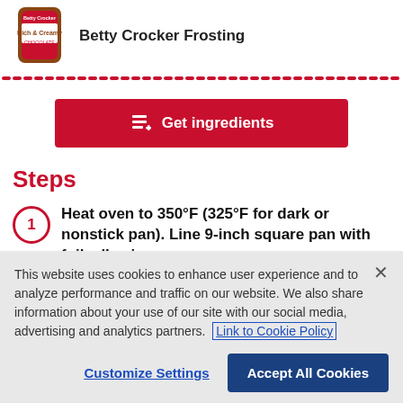[Figure (photo): Betty Crocker Frosting product jar with Rich & Creamy label]
Betty Crocker Frosting
[Figure (other): Red dotted horizontal separator line]
[Figure (other): Get ingredients button with list icon]
Steps
Heat oven to 350°F (325°F for dark or nonstick pan). Line 9-inch square pan with foil, allowing
This website uses cookies to enhance user experience and to analyze performance and traffic on our website. We also share information about your use of our site with our social media, advertising and analytics partners. Link to Cookie Policy
Customize Settings
Accept All Cookies